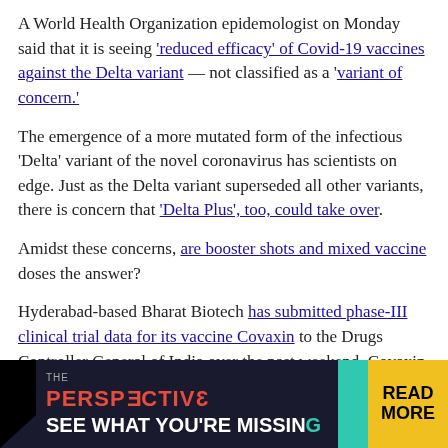A World Health Organization epidemologist on Monday said that it is seeing 'reduced efficacy' of Covid-19 vaccines against the Delta variant — not classified as a 'variant of concern.'
The emergence of a more mutated form of the infectious 'Delta' variant of the novel coronavirus has scientists on edge. Just as the Delta variant superseded all other variants, there is concern that 'Delta Plus', too, could take over.
Amidst these concerns, are booster shots and mixed vaccine doses the answer?
Hyderabad-based Bharat Biotech has submitted phase-III clinical trial data for its vaccine Covaxin to the Drugs Controller General of India over the past weekend. Covaxin is also awaiting WHO's Emergency Use Listing (EUL) after the global health regulator accepted its expression of interest for the same, and a pre-submission meeting took place on June 23.
Doctors in Kerala have detected seven cases of Guillain-Barre syndrome – a rare neurological disorder – within a month among 12 lakh people who received the Covishield vaccine,
[Figure (other): Advertisement banner for 'The Perspective' with tagline 'SEE WHAT YOU'RE MISSING' and 'READ MORE' button]